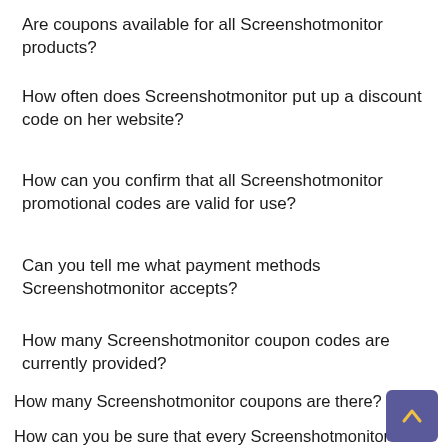Are coupons available for all Screenshotmonitor products?
How often does Screenshotmonitor put up a discount code on her website?
How can you confirm that all Screenshotmonitor promotional codes are valid for use?
Can you tell me what payment methods Screenshotmonitor accepts?
How many Screenshotmonitor coupon codes are currently provided?
How many Screenshotmonitor coupons are there?
How can you be sure that every Screenshotmonitor coupon is valid for use?